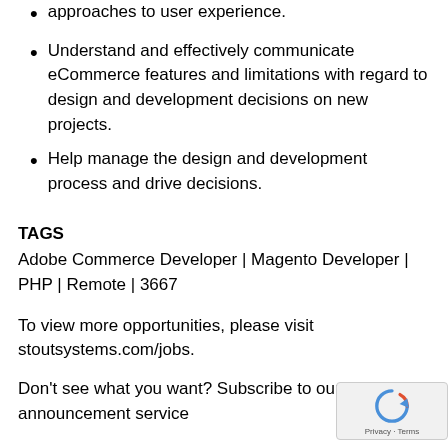approaches to user experience.
Understand and effectively communicate eCommerce features and limitations with regard to design and development decisions on new projects.
Help manage the design and development process and drive decisions.
TAGS
Adobe Commerce Developer | Magento Developer | PHP | Remote | 3667
To view more opportunities, please visit stoutsystems.com/jobs.
Don't see what you want? Subscribe to our job announcement service